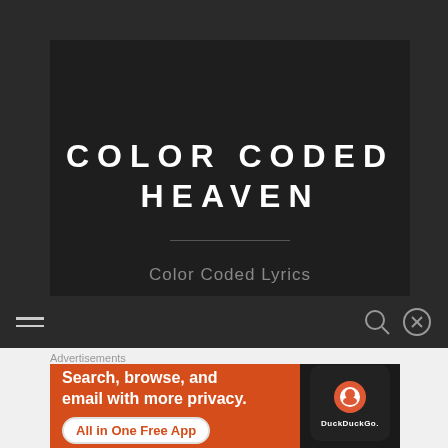COLOR CODED HEAVEN
Color Coded Lyrics
Advertisements
[Figure (screenshot): DuckDuckGo advertisement banner with orange background. Text reads 'Search, browse, and email with more privacy. All in One Free App' with DuckDuckGo logo on a phone mockup.]